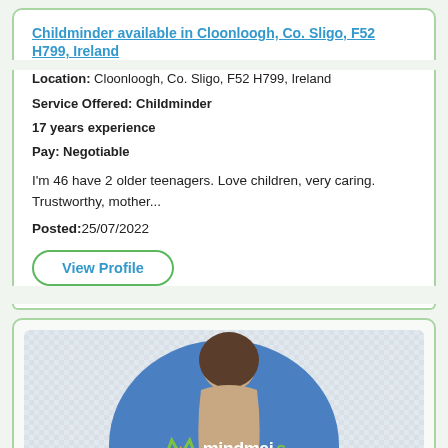Childminder available in Cloonloogh, Co. Sligo, F52 H799, Ireland
Location: Cloonloogh, Co. Sligo, F52 H799, Ireland
Service Offered: Childminder
17 years experience
Pay: Negotiable
I'm 46 have 2 older teenagers. Love children, very caring. Trustworthy, mother...
Posted:25/07/2022
View Profile
[Figure (photo): Photo of a child's head from above on a blue circular background, with a mindmais logo at the bottom]